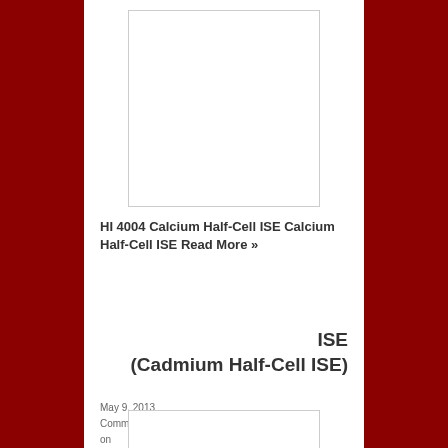[Figure (photo): White/blank image placeholder for HI 4004 Calcium Half-Cell ISE product]
HI 4004 Calcium Half-Cell ISE Calcium Half-Cell ISE Read More »
ISE (Cadmium Half-Cell ISE)
May 9, 2013
Comments Off
on ISE (Cadmium Half-Cell ISE)
[Figure (photo): White/blank image placeholder for ISE Cadmium Half-Cell ISE product]